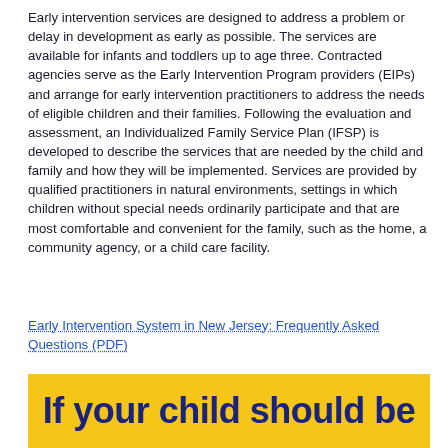Early intervention services are designed to address a problem or delay in development as early as possible. The services are available for infants and toddlers up to age three. Contracted agencies serve as the Early Intervention Program providers (EIPs) and arrange for early intervention practitioners to address the needs of eligible children and their families. Following the evaluation and assessment, an Individualized Family Service Plan (IFSP) is developed to describe the services that are needed by the child and family and how they will be implemented. Services are provided by qualified practitioners in natural environments, settings in which children without special needs ordinarily participate and that are most comfortable and convenient for the family, such as the home, a community agency, or a child care facility.
Early Intervention System in New Jersey: Frequently Asked Questions (PDF)
[Figure (other): Yellow banner image with bold dark blue text reading 'If your child should be' with partial next line visible]